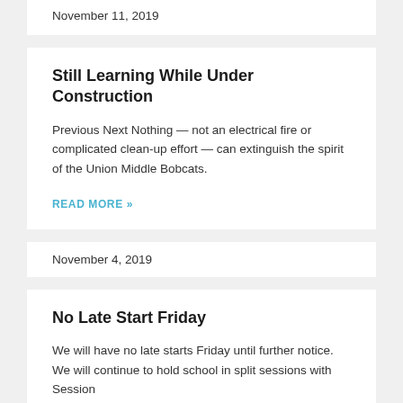November 11, 2019
Still Learning While Under Construction
Previous Next Nothing — not an electrical fire or complicated clean-up effort — can extinguish the spirit of the Union Middle Bobcats.
READ MORE »
November 4, 2019
No Late Start Friday
We will have no late starts Friday until further notice. We will continue to hold school in split sessions with Session